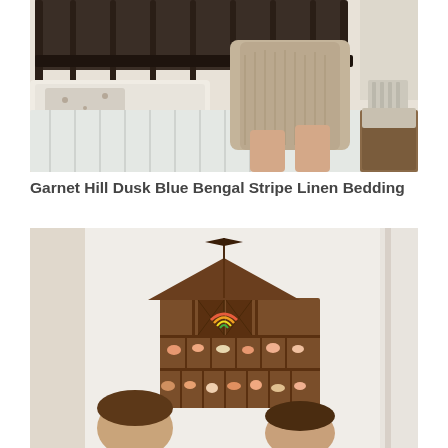[Figure (photo): Person sitting on a bed with light striped/floral bedding, wearing a tan/beige skirt, iron headboard visible, warm neutral bedroom interior]
Garnet Hill Dusk Blue Bengal Stripe Linen Bedding
[Figure (photo): Children looking at a wooden barn-shaped wall shelf/display unit with miniature farm animals arranged in compartments, weather vane on top, white wall background]